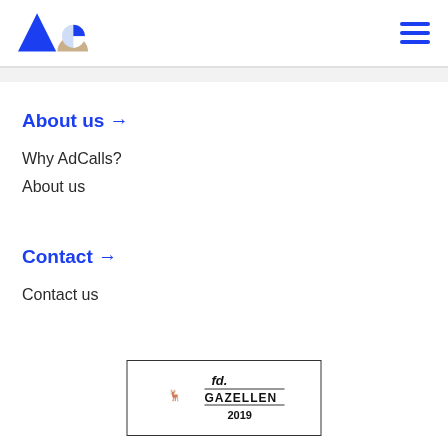AdCalls logo and navigation hamburger menu
About us →
Why AdCalls?
About us
Contact →
Contact us
[Figure (logo): FD Gazellen 2019 award logo in a bordered box]